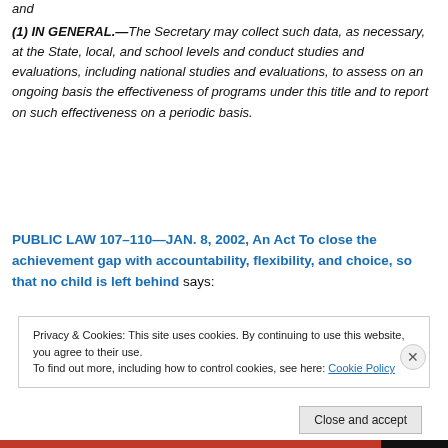and
(1) IN GENERAL.—The Secretary may collect such data, as necessary, at the State, local, and school levels and conduct studies and evaluations, including national studies and evaluations, to assess on an ongoing basis the effectiveness of programs under this title and to report on such effectiveness on a periodic basis.
PUBLIC LAW 107–110—JAN. 8, 2002, An Act To close the achievement gap with accountability, flexibility, and choice, so that no child is left behind says:
Privacy & Cookies: This site uses cookies. By continuing to use this website, you agree to their use.
To find out more, including how to control cookies, see here: Cookie Policy
Close and accept